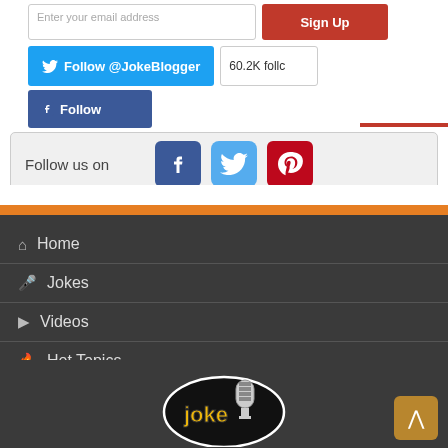[Figure (screenshot): Email input field with Sign Up button (red)]
[Figure (screenshot): Twitter Follow @JokeBlogger button with 60.2K followers count badge]
[Figure (screenshot): Facebook Follow button (blue)]
[Figure (screenshot): Follow us on bar with Facebook, Twitter, and Pinterest icons]
Home
Jokes
Videos
Hot Topics
Comedians
[Figure (logo): Joke Blogger logo with microphone and yellow text]